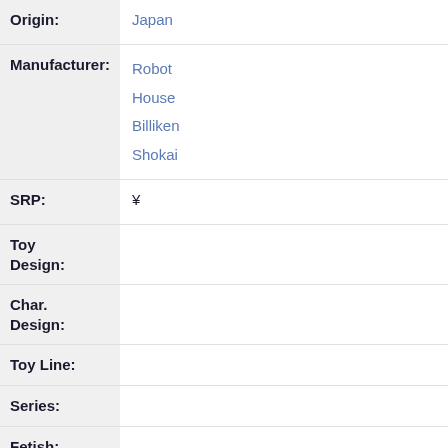| Field | Value |
| --- | --- |
| Origin: | Japan |
| Manufacturer: | Robot
House
Billiken
Shokai |
| SRP: | ¥ |
| Toy Design: |  |
| Char. Design: |  |
| Toy Line: |  |
| Series: |  |
| Fetish: |  |
| Category: | Monsters |